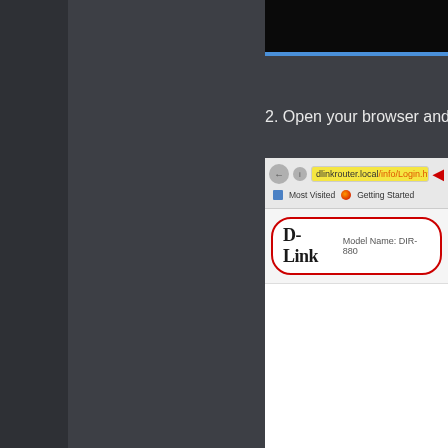[Figure (screenshot): A browser screenshot showing the D-Link router web interface URL 'dlinkrouter.local/info/Login.html' highlighted in yellow in the address bar, with the D-Link logo and 'Model Name: DIR-880' visible in the page content. The screenshot is cropped/partial, showing only the right portion of the browser window.]
2. Open your browser and type,